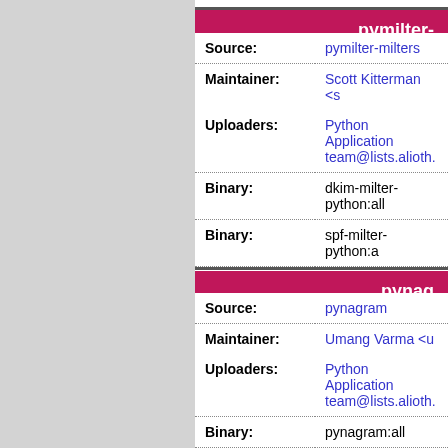pymilter-
| Field | Value |
| --- | --- |
| Source: | pymilter-milters |
| Maintainer: | Scott Kitterman <s |
| Uploaders: | Python Application team@lists.alioth. |
| Binary: | dkim-milter-python:all |
| Binary: | spf-milter-python:a |
pynag
| Field | Value |
| --- | --- |
| Source: | pynagram |
| Maintainer: | Umang Varma <u |
| Uploaders: | Python Application team@lists.alioth. |
| Binary: | pynagram:all |